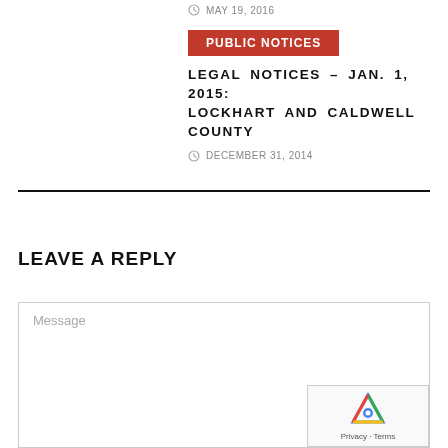MAY 19, 2016
PUBLIC NOTICES
LEGAL NOTICES – JAN. 1, 2015: LOCKHART AND CALDWELL COUNTY
DECEMBER 31, 2014
LEAVE A REPLY
Message